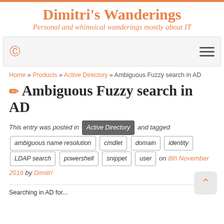Dimitri's Wanderings
Personal and whimsical wanderings mostly about IT
Breadcrumb: Home » Products » Active Directory » Ambiguous Fuzzy search in AD
✏ Ambiguous Fuzzy search in AD
This entry was posted in Active Directory and tagged ambiguous name resolution, cmdlet, domain, identity, LDAP search, powershell, snippet, user on 8th November 2016 by Dimitri
Searching in AD for...